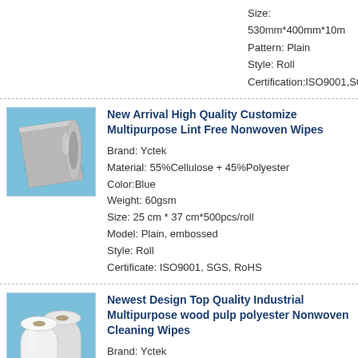Size: 530mm*400mm*10m
Pattern: Plain
Style: Roll
Certification:ISO9001,SGS,ROHS
[Figure (photo): Roll of grey/silver nonwoven fabric on light blue background]
New Arrival High Quality Customize Multipurpose Lint Free Nonwoven Wipes
Brand: Yctek
Material: 55%Cellulose + 45%Polyester
Color:Blue
Weight: 60gsm
Size: 25 cm * 37 cm*500pcs/roll
Model: Plain, embossed
Style: Roll
Certificate: ISO9001, SGS, RoHS
[Figure (photo): Two white rolls of nonwoven cleaning wipes on light blue background]
Newest Design Top Quality Industrial Multipurpose wood pulp polyester Nonwoven Cleaning Wipes
Brand: Yctek
Material: Woodpulp + polyester.
White color
Weight: 56gsm
Size: 20 cm * 35 cm
Model: Embossed